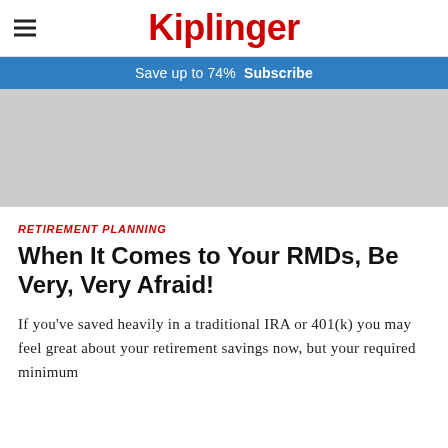Kiplinger
Save up to 74%  Subscribe
[Figure (photo): Gray placeholder image area]
RETIREMENT PLANNING
When It Comes to Your RMDs, Be Very, Very Afraid!
If you've saved heavily in a traditional IRA or 401(k) you may feel great about your retirement savings now, but your required minimum